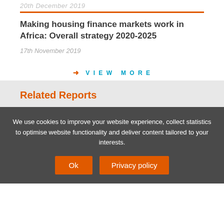20th December 2019
Making housing finance markets work in Africa: Overall strategy 2020-2025
17th November 2019
→ VIEW MORE
Related Reports
We use cookies to improve your website experience, collect statistics to optimise website functionality and deliver content tailored to your interests.
Ok  Privacy policy